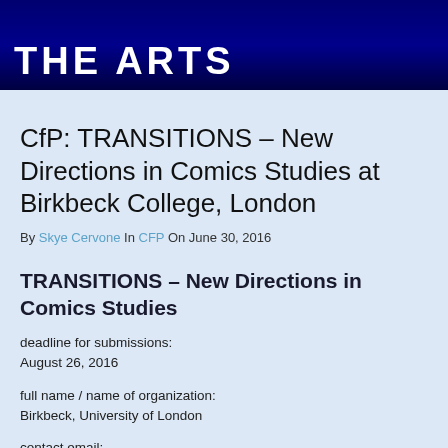THE ARTS
CfP: TRANSITIONS – New Directions in Comics Studies at Birkbeck College, London
By Skye Cervone In CFP On June 30, 2016
TRANSITIONS – New Directions in Comics Studies
deadline for submissions:
August 26, 2016
full name / name of organization:
Birkbeck, University of London
contact email:
transitionssymposium@gmail.com